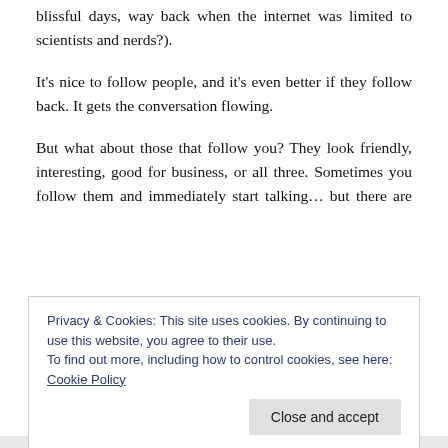blissful days, way back when the internet was limited to scientists and nerds?).
It's nice to follow people, and it's even better if they follow back. It gets the conversation flowing.
But what about those that follow you? They look friendly, interesting, good for business, or all three. Sometimes you follow them and immediately start talking… but there are others that are on the periphery. They aren't among your regular crowd of cyber-friends. You follow them back thinking that you'll catch their tweets at some point and
Privacy & Cookies: This site uses cookies. By continuing to use this website, you agree to their use.
To find out more, including how to control cookies, see here: Cookie Policy